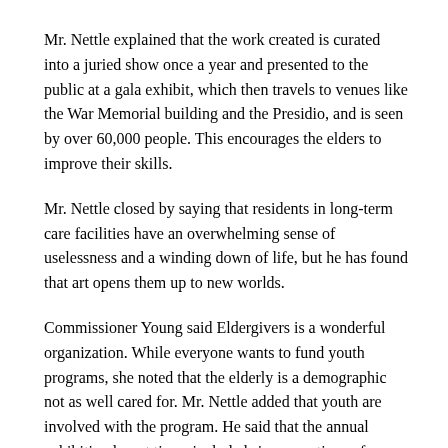Mr. Nettle explained that the work created is curated into a juried show once a year and presented to the public at a gala exhibit, which then travels to venues like the War Memorial building and the Presidio, and is seen by over 60,000 people. This encourages the elders to improve their skills.
Mr. Nettle closed by saying that residents in long-term care facilities have an overwhelming sense of uselessness and a winding down of life, but he has found that art opens them up to new worlds.
Commissioner Young said Eldergivers is a wonderful organization. While everyone wants to fund youth programs, she noted that the elderly is a demographic not as well cared for. Mr. Nettle added that youth are involved with the program. He said that the annual exhibition has at times included six generations of attendees.
Examples of artwork created by the Community Arts program at Central City Hospitality House were shown. Ms. Takayama then introduced Rick Darnell with Central City Hospitality House's Community Arts Program ("CAP") which is celebrating its 40th